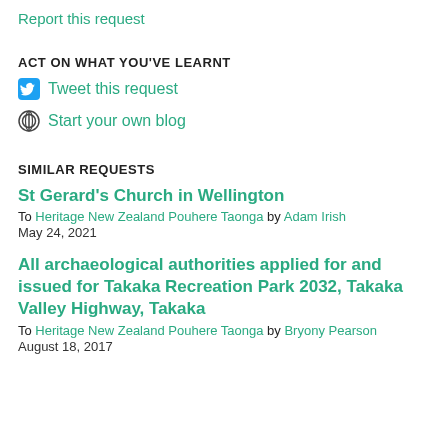Report this request
ACT ON WHAT YOU'VE LEARNT
Tweet this request
Start your own blog
SIMILAR REQUESTS
St Gerard's Church in Wellington
To Heritage New Zealand Pouhere Taonga by Adam Irish
May 24, 2021
All archaeological authorities applied for and issued for Takaka Recreation Park 2032, Takaka Valley Highway, Takaka
To Heritage New Zealand Pouhere Taonga by Bryony Pearson
August 18, 2017